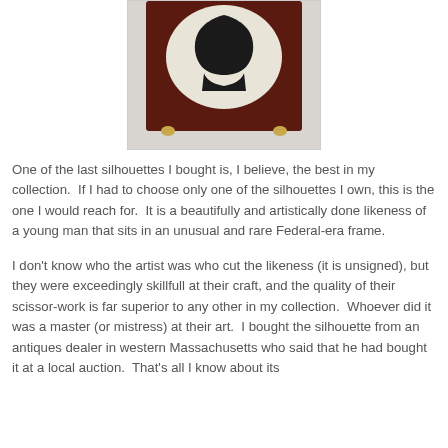[Figure (photo): A photograph of an antique silhouette portrait in a dark Federal-era frame with brass feet/legs, displayed on a light fabric background. The silhouette shows a dark profile of a figure against a pale oval background on a dark reddish-brown wooden frame.]
One of the last silhouettes I bought is, I believe, the best in my collection. If I had to choose only one of the silhouettes I own, this is the one I would reach for. It is a beautifully and artistically done likeness of a young man that sits in an unusual and rare Federal-era frame.
I don't know who the artist was who cut the likeness (it is unsigned), but they were exceedingly skillfull at their craft, and the quality of their scissor-work is far superior to any other in my collection. Whoever did it was a master (or mistress) at their art. I bought the silhouette from an antiques dealer in western Massachusetts who said that he had bought it at a local auction. That's all I know about its